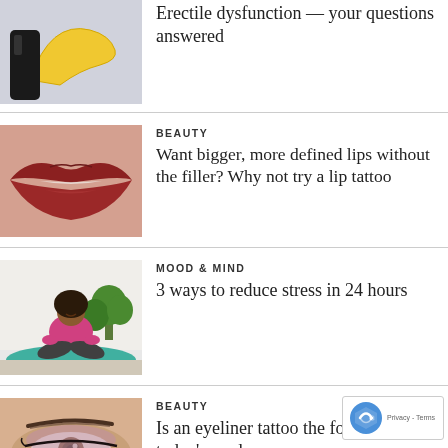[Figure (photo): Partial view of banana and dark object on light background - top of article about erectile dysfunction]
Erectile dysfunction — your questions answered
[Figure (photo): Close-up of lips with deep red lipstick]
BEAUTY
Want bigger, more defined lips without the filler? Why not try a lip tattoo
[Figure (photo): Woman with natural hair sitting cross-legged meditating on a teal yoga mat indoors with a plant behind her]
MOOD & MIND
3 ways to reduce stress in 24 hours
[Figure (photo): Close-up of an eye with makeup and defined eyebrow]
BEAUTY
Is an eyeliner tattoo the forward for today's modern